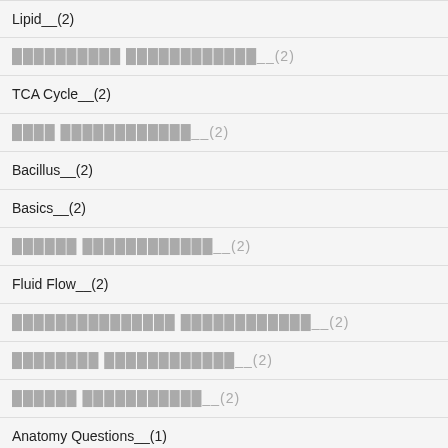Lipid__(2)
[blurred text]__(2)
TCA Cycle__(2)
[blurred text]__(2)
Bacillus__(2)
Basics__(2)
[blurred text]__(2)
Fluid Flow__(2)
[blurred text]__(2)
[blurred text]__(2)
[blurred text]__(2)
Anatomy Questions__(1)
[blurred text]__(1)
Enzymes Regulation__(1)